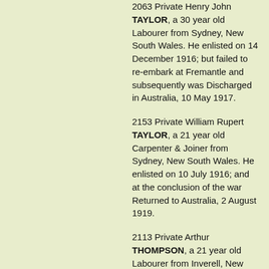2063 Private Henry John TAYLOR, a 30 year old Labourer from Sydney, New South Wales. He enlisted on 14 December 1916; but failed to re-embark at Fremantle and subsequently was Discharged in Australia, 10 May 1917.
2153 Private William Rupert TAYLOR, a 21 year old Carpenter & Joiner from Sydney, New South Wales. He enlisted on 10 July 1916; and at the conclusion of the war Returned to Australia, 2 August 1919.
2113 Private Arthur THOMPSON, a 21 year old Labourer from Inverell, New South Wales. He enlisted on 5 December 1916; and at the conclusion of the war Returned to Australia, 17 March 1919.
2064 Private Joseph William THOMPSON, a 24 year old Labourer from Glebe, New South Wales. He enlisted on 18...